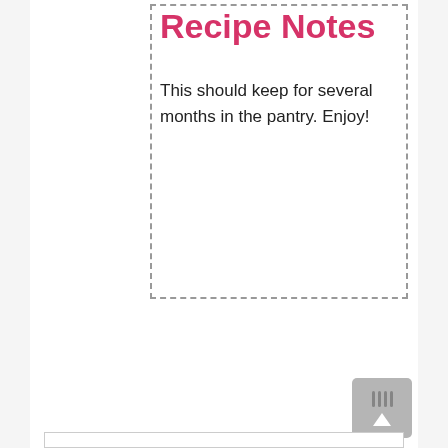Recipe Notes
This should keep for several months in the pantry. Enjoy!